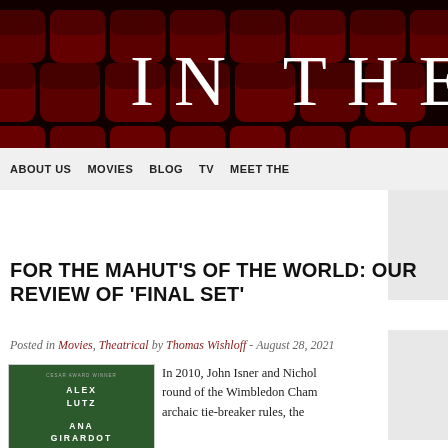[Figure (photo): Website header banner showing red cinema seats with large white text 'IN THE' on a dark background]
ABOUT US   MOVIES   BLOG   TV   MEET THE
FOR THE MAHUT'S OF THE WORLD: OUR REVIEW OF 'FINAL SET'
Posted in Movies, Theatrical by Thomas Wishloff - August 28, 2021
[Figure (photo): Movie poster for 'Final Set' featuring names ALEX LUTZ, ANA GIRARDOT on a dark green background]
In 2010, John Isner and Nichol round of the Wimbledon Cham archaic tie-breaker rules, the